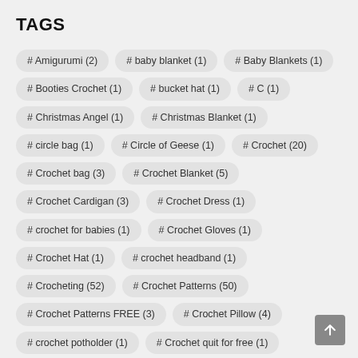TAGS
# Amigurumi (2)
# baby blanket (1)
# Baby Blankets (1)
# Booties Crochet (1)
# bucket hat (1)
# C (1)
# Christmas Angel (1)
# Christmas Blanket (1)
# circle bag (1)
# Circle of Geese (1)
# Crochet (20)
# Crochet bag (3)
# Crochet Blanket (5)
# Crochet Cardigan (3)
# Crochet Dress (1)
# crochet for babies (1)
# Crochet Gloves (1)
# Crochet Hat (1)
# crochet headband (1)
# Crocheting (52)
# Crochet Patterns (50)
# Crochet Patterns FREE (3)
# Crochet Pillow (4)
# crochet potholder (1)
# Crochet quit for free (1)
# Crochet Rug (3)
# Crochet Scarf (1)
# Crochet Skirts (1)
# Crochet Socks (1)